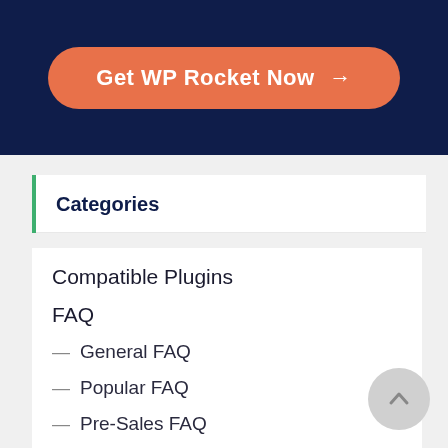[Figure (illustration): Dark navy blue banner with an orange rounded CTA button reading 'Get WP Rocket Now →']
Categories
Compatible Plugins
FAQ
— General FAQ
— Popular FAQ
— Pre-Sales FAQ
Fine Tuning
— Child Themes
— Code Snippets
— Performance Optimization
— Translations
Installation & Updates